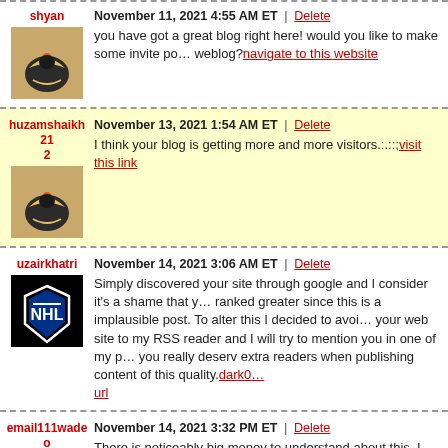shyan — November 11, 2021 4:55 AM ET | Delete
you have got a great blog right here! would you like to make some invite posts on my weblog? navigate to this website
huzamshaikh212 — November 13, 2021 1:54 AM ET | Delete
I think your blog is getting more and more visitors.:.::; visit this link
uzairkhatri — November 14, 2021 3:06 AM ET | Delete
Simply discovered your site through google and I consider it's a shame that you aren't ranked greater since this is a implausible post. To alter this I decided to avoid wasting your web site to my RSS reader and I will try to mention you in one of my posts since you really deserv extra readers when publishing content of this quality. dark0... url
email111wadeo@gmai — November 14, 2021 3:32 PM ET | Delete
There is noticeably big money to understand about this. I suppose you have made certain nice points in functions also. 4949 e. madison st, phoenix, az 85034